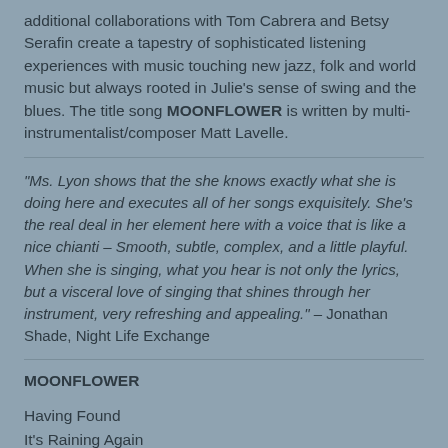additional collaborations with Tom Cabrera and Betsy Serafin create a tapestry of sophisticated listening experiences with music touching new jazz, folk and world music but always rooted in Julie's sense of swing and the blues. The title song MOONFLOWER is written by multi-instrumentalist/composer Matt Lavelle.
"Ms. Lyon shows that the she knows exactly what she is doing here and executes all of her songs exquisitely. She's the real deal in her element here with a voice that is like a nice chianti – Smooth, subtle, complex, and a little playful. When she is singing, what you hear is not only the lyrics, but a visceral love of singing that shines through her instrument, very refreshing and appealing." – Jonathan Shade, Night Life Exchange
MOONFLOWER
Having Found
It's Raining Again